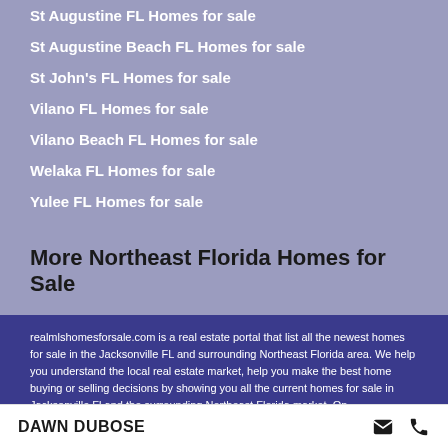St Augustine FL Homes for sale
St Augustine Beach FL Homes for sale
St John's FL Homes for sale
Vilano FL Homes for sale
Vilano Beach FL Homes for sale
Welaka FL Homes for sale
Yulee FL Homes for sale
More Northeast Florida Homes for Sale
realmlshomesforsale.com is a real estate portal that list all the newest homes for sale in the Jacksonville FL and surrounding Northeast Florida area. We help you understand the local real estate market, help you make the best home buying or selling decisions by showing you all the current homes for sale in Jacksonville Fl and the surrounding Northeast Florida market. On realmlshomesforsale.com you can refine your home search by price, bedrooms, bathrooms, property type and subdivision. View real estate activity by address, ZIP codes, city, neighborhood or MLS number. See real estate trends, compare your home to similar homes for sale. Search realmlshomesforsale.com and find your real estate professional, they have extensive knowledge of today's market and will provide the best advice. Looking for
DAWN DUBOSE